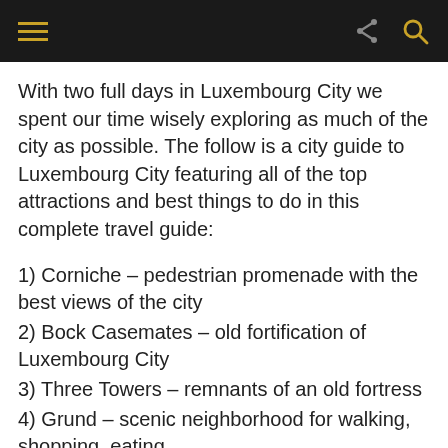Navigation header with hamburger menu, share icon, and search icon
With two full days in Luxembourg City we spent our time wisely exploring as much of the city as possible. The follow is a city guide to Luxembourg City featuring all of the top attractions and best things to do in this complete travel guide:
1) Corniche – pedestrian promenade with the best views of the city
2) Bock Casemates – old fortification of Luxembourg City
3) Three Towers – remnants of an old fortress
4) Grund – scenic neighborhood for walking, shopping, eating
5) Saint Michael's church – oldest church in Luxembourg